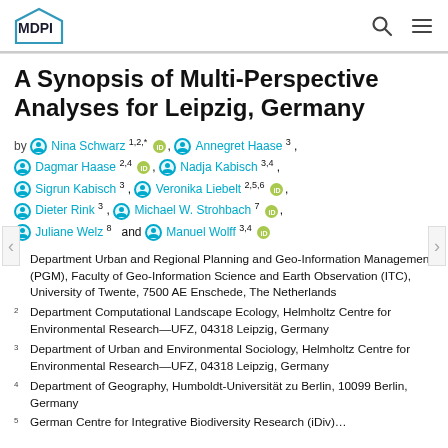MDPI
A Synopsis of Multi-Perspective Analyses for Leipzig, Germany
by Nina Schwarz 1,2,* , Annegret Haase 3, Dagmar Haase 2,4, Nadja Kabisch 3,4, Sigrun Kabisch 3, Veronika Liebelt 2,5,6, Dieter Rink 3, Michael W. Strohbach 7, Juliane Welz 8 and Manuel Wolff 3,4
1 Department Urban and Regional Planning and Geo-Information Management (PGM), Faculty of Geo-Information Science and Earth Observation (ITC), University of Twente, 7500 AE Enschede, The Netherlands
2 Department Computational Landscape Ecology, Helmholtz Centre for Environmental Research—UFZ, 04318 Leipzig, Germany
3 Department of Urban and Environmental Sociology, Helmholtz Centre for Environmental Research—UFZ, 04318 Leipzig, Germany
4 Department of Geography, Humboldt-Universität zu Berlin, 10099 Berlin, Germany
5 German Centre for Integrative Biodiversity Research (iDiv)...